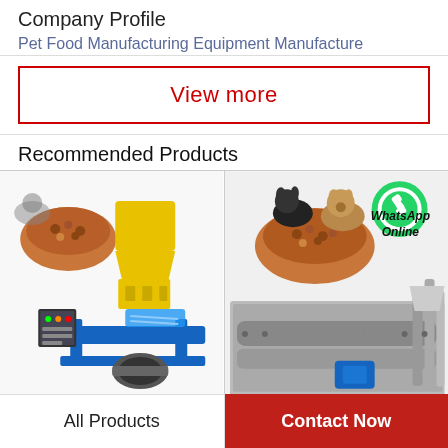Company Profile
Pet Food Manufacturing Equipment Manufacture
View more
Recommended Products
[Figure (photo): Pet food manufacturing extruder machine with yellow hopper, blue base, and motor, with bowl of pet food kibble in background]
[Figure (photo): Large industrial pet food processing line with two dogs and a bowl of pet food kibble, plus WhatsApp Online green logo overlay]
All Products
Contact Now